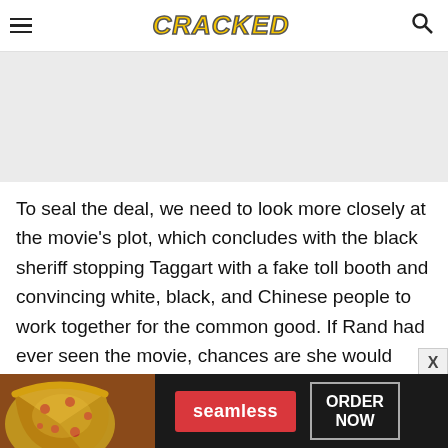CRACKED
[Figure (other): Gray placeholder advertisement area]
To seal the deal, we need to look more closely at the movie's plot, which concludes with the black sheriff stopping Taggart with a fake toll booth and convincing white, black, and Chinese people to work together for the common good. If Rand had ever seen the movie, chances are she would have furiously puked her gut
[Figure (other): Seamless food delivery advertisement banner with pizza image, Seamless logo, and ORDER NOW button]